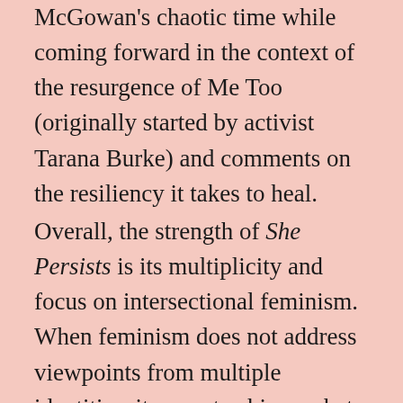McGowan's chaotic time while coming forward in the context of the resurgence of Me Too (originally started by activist Tarana Burke) and comments on the resiliency it takes to heal.
Overall, the strength of She Persists is its multiplicity and focus on intersectional feminism. When feminism does not address viewpoints from multiple identities, it cannot achieve what it's for—equality and space for everyone. With representation from around the globe, She Persists addresses how women of colour are excluded from the art historical canon as a result of Eurocentric patriarchy. The artists in the exhibition possess an